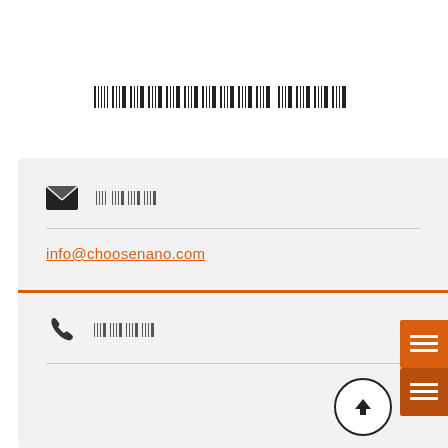██████████ ████
[Figure (infographic): Contact card with email icon, redacted label, email link info@choosenano.com, orange divider, phone icon, redacted label, scroll-to-top button, and two orange side navigation buttons]
info@choosenano.com